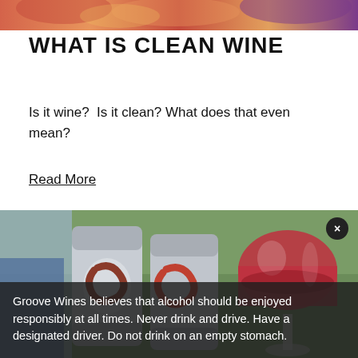[Figure (photo): Colorful top banner image strip at top of page]
WHAT IS CLEAN WINE
Is it wine?  Is it clean? What does that even mean?
Read More
[Figure (photo): Two canned wines with a glass of red wine in the foreground outdoors]
Groove Wines believes that alcohol should be enjoyed responsibly at all times. Never drink and drive. Have a designated driver. Do not drink on an empty stomach.